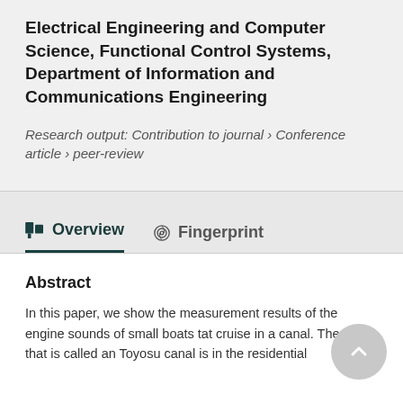Electrical Engineering and Computer Science, Functional Control Systems, Department of Information and Communications Engineering
Research output: Contribution to journal › Conference article › peer-review
Overview
Fingerprint
Abstract
In this paper, we show the measurement results of the engine sounds of small boats tat cruise in a canal. The canal that is called an Toyosu canal is in the residential